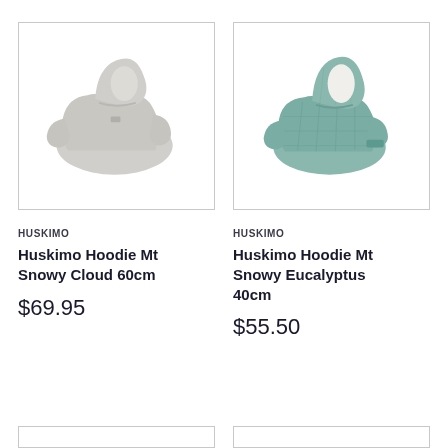[Figure (photo): Huskimo Hoodie Mt Snowy Cloud 60cm - light grey dog hoodie photographed on white background]
[Figure (photo): Huskimo Hoodie Mt Snowy Eucalyptus 40cm - mint/teal quilted dog hoodie photographed on white background]
HUSKIMO
Huskimo Hoodie Mt Snowy Cloud 60cm
$69.95
HUSKIMO
Huskimo Hoodie Mt Snowy Eucalyptus 40cm
$55.50